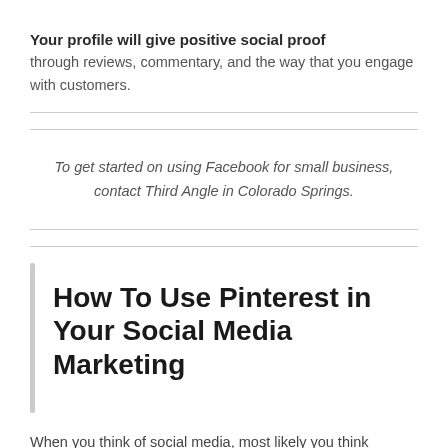Your profile will give positive social proof through reviews, commentary, and the way that you engage with customers.
To get started on using Facebook for small business, contact Third Angle in Colorado Springs.
How To Use Pinterest in Your Social Media Marketing
When you think of social media, most likely you think